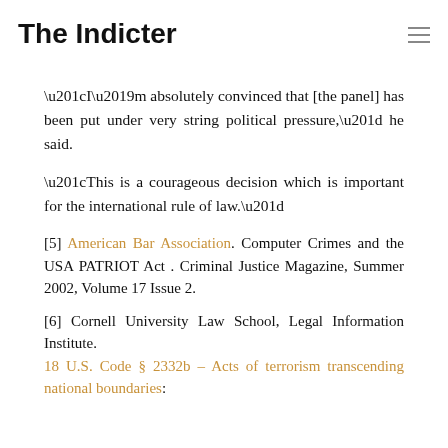The Indicter
“I’m absolutely convinced that [the panel] has been put under very string political pressure,” he said.
“This is a courageous decision which is important for the international rule of law.”
[5] American Bar Association. Computer Crimes and the USA PATRIOT Act . Criminal Justice Magazine, Summer 2002, Volume 17 Issue 2.
[6] Cornell University Law School, Legal Information Institute. 18 U.S. Code § 2332b – Acts of terrorism transcending national boundaries: